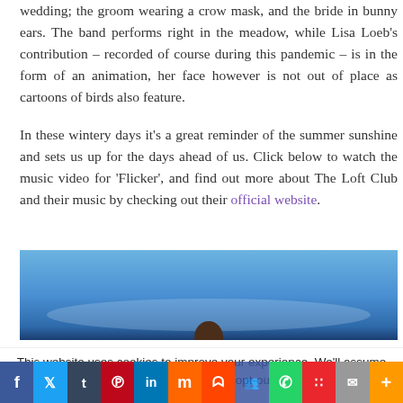wedding; the groom wearing a crow mask, and the bride in bunny ears. The band performs right in the meadow, while Lisa Loeb's contribution – recorded of course during this pandemic – is in the form of an animation, her face however is not out of place as cartoons of birds also feature.

In these wintery days it's a great reminder of the summer sunshine and sets us up for the days ahead of us. Click below to watch the music video for 'Flicker', and find out more about The Loft Club and their music by checking out their official website.
[Figure (photo): A wide landscape photo showing a blue sky gradient scene, with a partial silhouette of a person visible at the bottom center.]
This website uses cookies to improve your experience. We'll assume you're ok with this, but you can opt-out if you wish.
Social share bar: Facebook, Twitter, Tumblr, Pinterest, LinkedIn, Mix, Reddit, Friendfinder, WhatsApp, Meetup, Mail, More